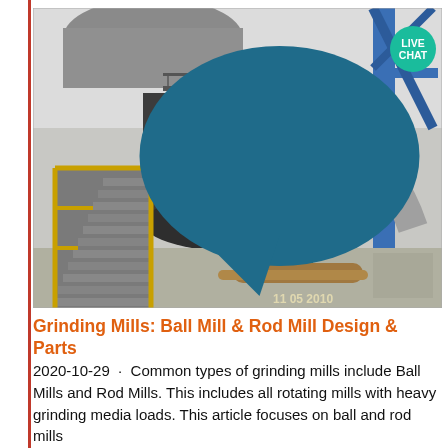[Figure (photo): Outdoor industrial photo of a large grinding mill (ball/rod mill) with metal staircase with yellow handrails on the left, blue structural steel on the right, concrete flooring, pipes, and a timestamp '11 05 2010' in the lower right corner.]
Grinding Mills: Ball Mill & Rod Mill Design & Parts
2020-10-29 · Common types of grinding mills include Ball Mills and Rod Mills. This includes all rotating mills with heavy grinding media loads. This article focuses on ball and rod mills